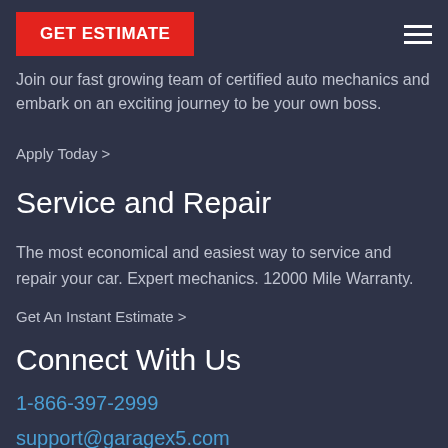GET ESTIMATE
Join our fast growing team of certified auto mechanics and embark on an exciting journey to be your own boss.
Apply Today >
Service and Repair
The most economical and easiest way to service and repair your car. Expert mechanics. 12000 Mile Warranty.
Get An Instant Estimate >
Connect With Us
1-866-397-2999
support@garagex5.com
[Figure (illustration): Social media icons: Facebook, Twitter, LinkedIn in circular outlines]